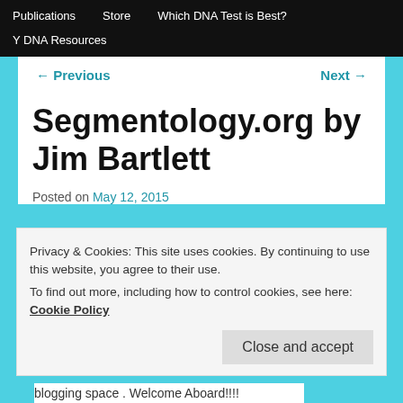Publications   Store   Which DNA Test is Best?   Y DNA Resources
← Previous   Next →
Segmentology.org by Jim Bartlett
Posted on May 12, 2015
Privacy & Cookies: This site uses cookies. By continuing to use this website, you agree to their use.
To find out more, including how to control cookies, see here: Cookie Policy
Close and accept
blogging space . Welcome Aboard!!!!